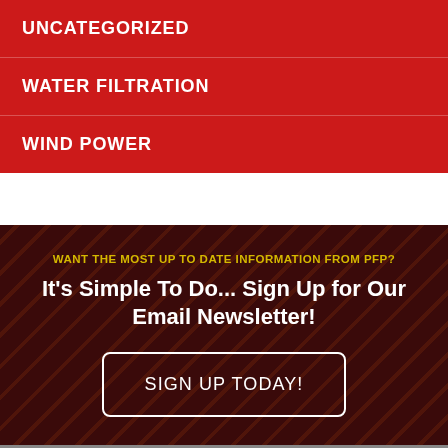UNCATEGORIZED
WATER FILTRATION
WIND POWER
WANT THE MOST UP TO DATE INFORMATION FROM PFP?
It's Simple To Do... Sign Up for Our Email Newsletter!
SIGN UP TODAY!